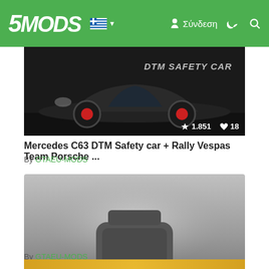5MODS — Σύνδεση
[Figure (screenshot): Dark car image with DTM SAFETY CAR text, showing front/side of a Mercedes C63. Stats: 1.851 downloads, 18 likes.]
Mercedes C63 DTM Safety car + Rally Vespas Team Porsche ...
By GTAEU-MODS
[Figure (screenshot): Grayscale image of an Army Train mod, showing front of a blocky train. Rating: 4.88 stars, 429 downloads, 26 likes.]
Army Train
By GTAEU-MODS